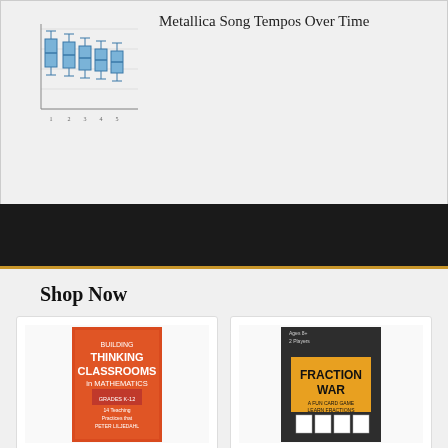[Figure (continuous-plot): Box plot chart of Metallica Song Tempos Over Time, showing blue box plots across multiple time periods]
Metallica Song Tempos Over Time
Shop Now
[Figure (photo): Book cover: Building Thinking Classrooms in Mathematics by Peter Liljedahl, red/orange cover]
Building Thinking Classrooms in Mathemat…
$36.95 ✓prime
★★★★★ (932)
[Figure (photo): Fraction War Math Game box with yellow and black design]
Fraction War Math Game - Fun Math Game to Learn, …
$9.99 ✓prime
★★★★½ (235)